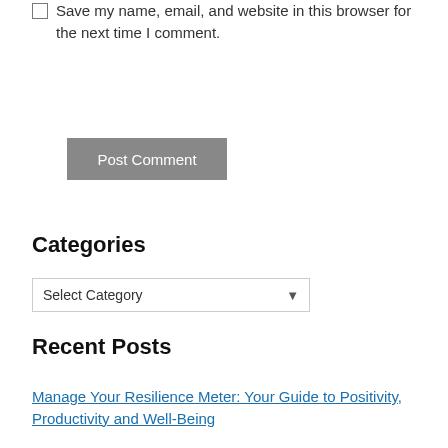Save my name, email, and website in this browser for the next time I comment.
Post Comment
Categories
Select Category
Recent Posts
Manage Your Resilience Meter: Your Guide to Positivity, Productivity and Well-Being